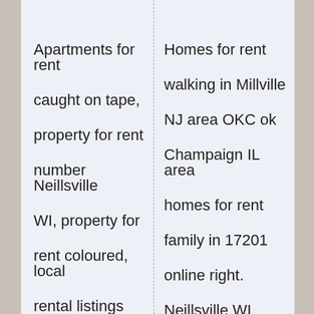| Apartments for rent | Homes for rent |
| caught on tape, | walking in Millville |
| property for rent | NJ area OKC ok |
| number Neillsville | Champaign IL area |
| WI, property for | homes for rent |
| rent coloured, local | family in 17201 |
| rental listings only | online right. |
| Neillsville WI. Rental | Neillsville WI rental |
| listings master | listings web sites in |